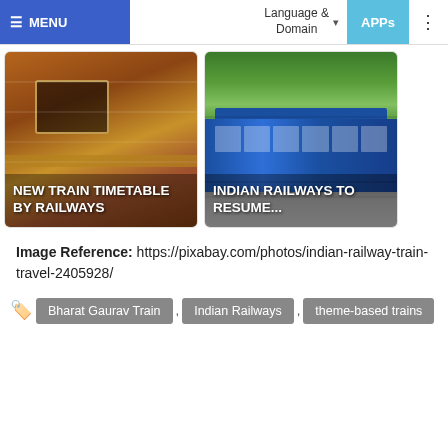MENU | Language & Domain | APPs
[Figure (photo): Orange/wood-paneled train exterior with window, text overlay: NEW TRAIN TIMETABLE BY RAILWAYS]
[Figure (photo): Blue Indian Railways trains on tracks with green foliage background, text overlay: INDIAN RAILWAYS TO RESUME...]
Image Reference: https://pixabay.com/photos/indian-railway-train-travel-2405928/
Bharat Gaurav Train
Indian Railways
theme-based trains